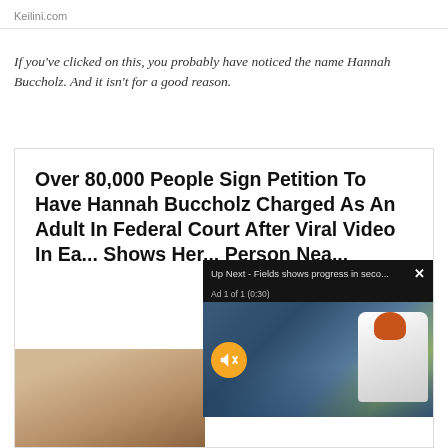Keilini.com
If you've clicked on this, you probably have noticed the name Hannah Buccholz. And it isn't for a good reason.
Over 80,000 People Sign Petition To Have Hannah Buccholz Charged As An Adult In Federal Court After Viral Video In Ea... Shows Her... Person Nea...
[Figure (photo): Close-up photo of a young woman with blonde hair]
[Figure (screenshot): Video overlay popup: 'Up Next - Fields shows progress in seco...' with Ad 1 of 1 (0:30) label, mute button, and thumbnail of a football player (Chicago Bears quarterback)]